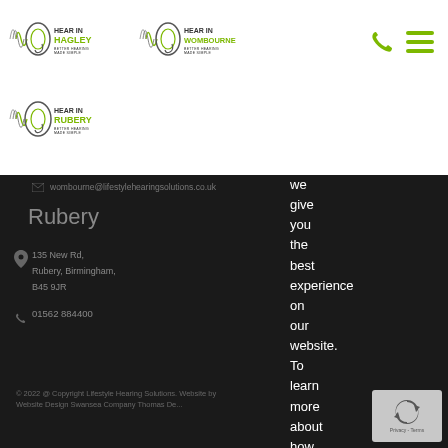[Figure (logo): Hear In Hagley logo with sound wave and ear graphic]
[Figure (logo): Hear In Wombourne logo with sound wave and ear graphic]
[Figure (logo): Hear In Rubery logo with sound wave and ear graphic]
wombourne@lifestylehearingsolutions.co.uk
Rubery
135 New Rd,
Rubery, Birmingham,
B45 9JR
01562 884400
we give you the best experience on our website. To learn more about how Google might use
© 2022 @ Copyright Lifestyle Hearing Solutions. Website by Website Design Swansea Company Thomas De...